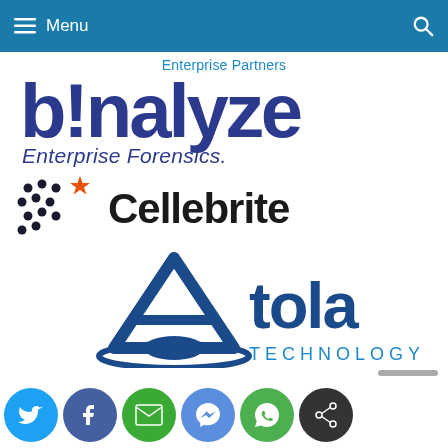Menu
Enterprise Partners
[Figure (logo): binalyze logo — Enterprise Forensics. Dark blue stylized text 'binalyze' with exclamation mark replacing 'i', subtitle 'Enterprise Forensics.']
[Figure (logo): Cellebrite logo — dots pattern with orange star, bold black text 'Cellebrite']
[Figure (logo): Atola Technology logo — blue stylized A with ellipse/drop shadow, text 'Atola TECHNOLOGY']
Social share buttons: Twitter, Facebook, Email, Messenger, WhatsApp, Share